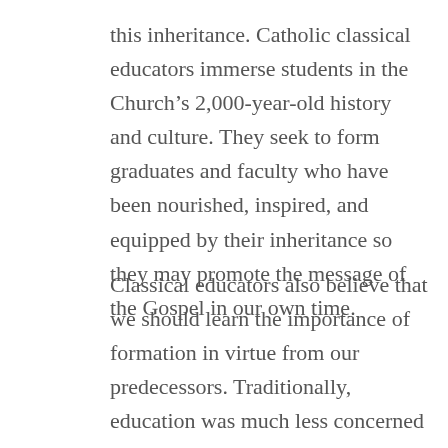this inheritance. Catholic classical educators immerse students in the Church's 2,000-year-old history and culture. They seek to form graduates and faculty who have been nourished, inspired, and equipped by their inheritance so they may promote the message of the Gospel in our own time.
Classical educators also believe that we should learn the importance of formation in virtue from our predecessors. Traditionally, education was much less concerned with training and much more concerned with developing the moral, intellectual, and